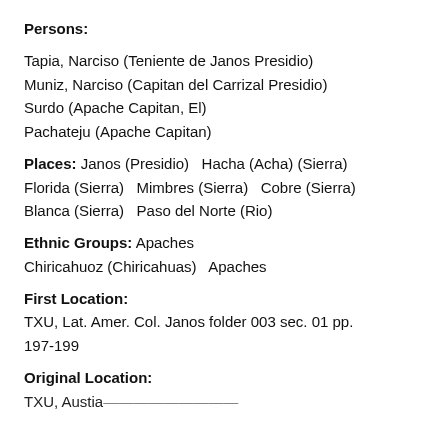Persons:
Tapia, Narciso (Teniente de Janos Presidio)
Muniz, Narciso (Capitan del Carrizal Presidio)
Surdo (Apache Capitan, El)
Pachateju (Apache Capitan)
Places: Janos (Presidio)   Hacha (Acha) (Sierra)   Florida (Sierra)   Mimbres (Sierra)   Cobre (Sierra)   Blanca (Sierra)   Paso del Norte (Rio)
Ethnic Groups: Apaches   Chiricahuoz (Chiricahuas)   Apaches
First Location:
TXU, Lat. Amer. Col. Janos folder 003 sec. 01 pp. 197-199
Original Location:
TXU, Austin, Lat. Amer. Col. Janos F. 003 Sec. 01 pp. 197